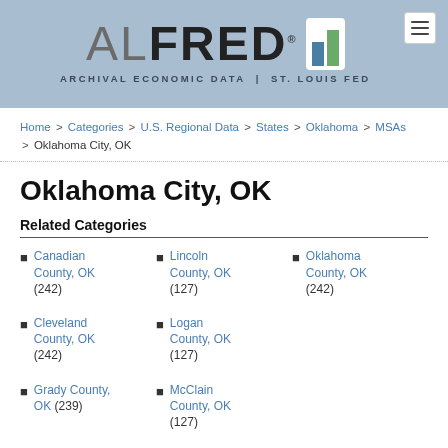[Figure (logo): ALFRED Archival Economic Data | St. Louis Fed logo with bar chart icon]
Home > Categories > U.S. Regional Data > States > Oklahoma > MSAs > Oklahoma City, OK
Oklahoma City, OK
Related Categories
Canadian County, OK (242)
Lincoln County, OK (127)
Oklahoma County, OK (242)
Cleveland County, OK (242)
Logan County, OK (127)
Grady County, OK (239)
McClain County, OK (127)